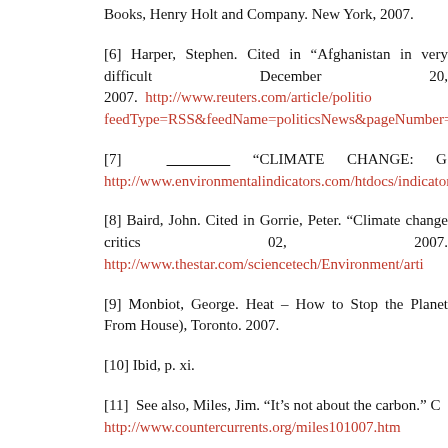Books, Henry Holt and Company. New York, 2007.
[6] Harper, Stephen. Cited in “Afghanistan in very difficult December 20, 2007. http://www.reuters.com/article/politio feedType=RSS&feedName=politicsNews&pageNumber=2&vi
[7] ____________ “CLIMATE CHANGE: G http://www.environmentalindicators.com/htdocs/indicators/5gre
[8] Baird, John. Cited in Gorrie, Peter. “Climate change critics 02, 2007. http://www.thestar.com/sciencetech/Environment/arti
[9] Monbiot, George. Heat – How to Stop the Planet From House), Toronto. 2007.
[10] Ibid, p. xi.
[11] See also, Miles, Jim. “It’s not about the carbon.” C http://www.countercurrents.org/miles101007.htm